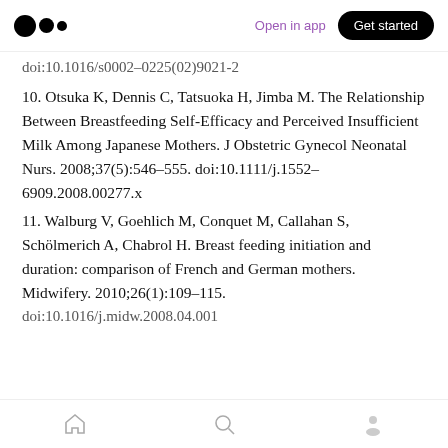Medium app navigation bar — Open in app | Get started
doi:10.1016/s0002-0225(02)9021-2
10. Otsuka K, Dennis C, Tatsuoka H, Jimba M. The Relationship Between Breastfeeding Self-Efficacy and Perceived Insufficient Milk Among Japanese Mothers. J Obstetric Gynecol Neonatal Nurs. 2008;37(5):546–555. doi:10.1111/j.1552–6909.2008.00277.x
11. Walburg V, Goehlich M, Conquet M, Callahan S, Schölmerich A, Chabrol H. Breast feeding initiation and duration: comparison of French and German mothers. Midwifery. 2010;26(1):109–115. doi:10.1016/j.midw.2008.04.001
Home | Search | Profile